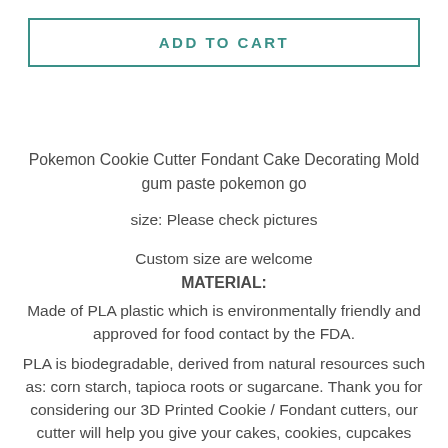ADD TO CART
Pokemon Cookie Cutter Fondant Cake Decorating Mold gum paste pokemon go
size: Please check pictures
Custom size are welcome
MATERIAL:
Made of PLA plastic which is environmentally friendly and approved for food contact by the FDA.
PLA is biodegradable, derived from natural resources such as: corn starch, tapioca roots or sugarcane. Thank you for considering our 3D Printed Cookie / Fondant cutters, our cutter will help you give your cakes, cookies, cupcakes and